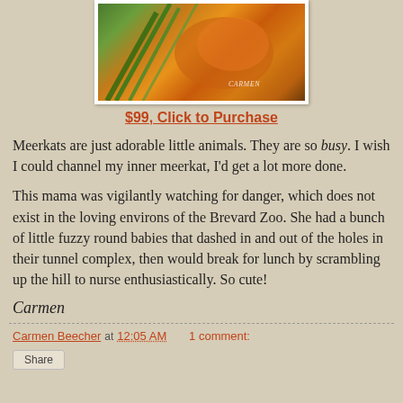[Figure (illustration): Colorful painting of a meerkat with orange, brown, and green tones, signed 'CARMEN' in lower right corner]
$99, Click to Purchase
Meerkats are just adorable little animals. They are so busy. I wish I could channel my inner meerkat, I'd get a lot more done.
This mama was vigilantly watching for danger, which does not exist in the loving environs of the Brevard Zoo. She had a bunch of little fuzzy round babies that dashed in and out of the holes in their tunnel complex, then would break for lunch by scrambling up the hill to nurse enthusiastically. So cute!
Carmen
Carmen Beecher at 12:05 AM   1 comment:
Share